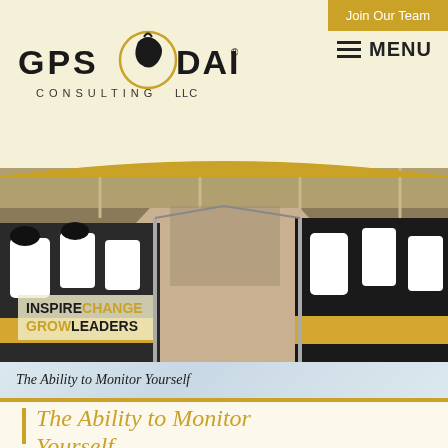Join Our Team
MENU
[Figure (logo): GPS Dairy Consulting LLC logo with cow head icon]
[Figure (photo): Dairy farm interior showing Holstein cows feeding at a feed bunk in a large barn, aerial/perspective view down the feed alley]
INSPIRE CHANGE GROW LEADERS
The Ability to Monitor Yourself
The Ability to Monitor Yourself